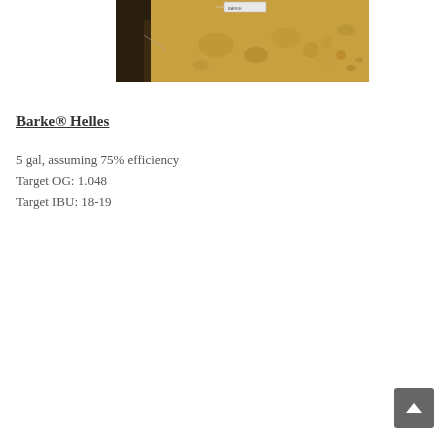[Figure (photo): Close-up photograph of sandy/golden-colored soil or barley grain pile with a small white label/tag visible at the top center, dark soil visible at the left edge.]
Barke® Helles
5 gal, assuming 75% efficiency
Target OG: 1.048
Target IBU: 18-19